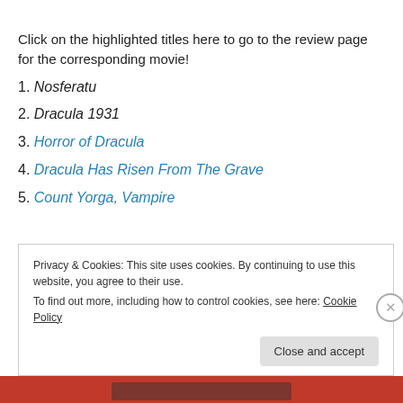Click on the highlighted titles here to go to the review page for the corresponding movie!
1. Nosferatu
2. Dracula 1931
3. Horror of Dracula
4. Dracula Has Risen From The Grave
5. Count Yorga, Vampire
Privacy & Cookies: This site uses cookies. By continuing to use this website, you agree to their use. To find out more, including how to control cookies, see here: Cookie Policy